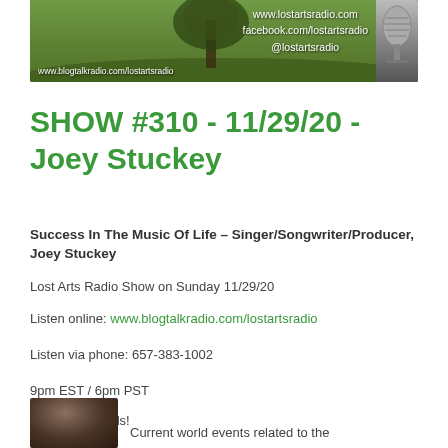[Figure (photo): Lost Arts Radio banner with green landscape/tree background, website URLs (www.lostartsradio.com, facebook.com/lostartsradio, @lostartsradio, www.blogtalkradio.com/lostartsradio), and a microphone image on the right.]
SHOW #310 - 11/29/20 - Joey Stuckey
Success In The Music Of Life – Singer/Songwriter/Producer, Joey Stuckey
Lost Arts Radio Show on Sunday 11/29/20
Listen online: www.blogtalkradio.com/lostartsradio
Listen via phone: 657-383-1002
9pm EST / 6pm PST
Tell Your Friends!
[Figure (photo): Small thumbnail photo of a person (Joey Stuckey), partially visible at bottom left.]
Current world events related to the